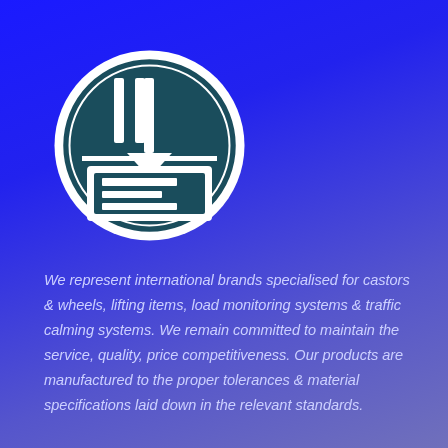[Figure (logo): Circular logo with dark teal background. Upper half contains a stylized arrow/fork symbol pointing downward. Lower half contains a rectangular 'E' or book-like symbol. White double-ring border around the circle.]
We represent international brands specialised for castors & wheels, lifting items, load monitoring systems & traffic calming systems. We remain committed to maintain the service, quality, price competitiveness. Our products are manufactured to the proper tolerances & material specifications laid down in the relevant standards.